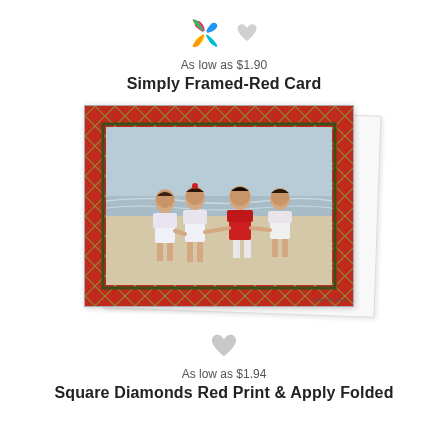[Figure (logo): Colorful pinwheel logo icon and gray heart/favorite icon]
As low as $1.90
Simply Framed-Red Card
[Figure (photo): Product photo of a folded greeting card with red diamond lattice border frame and photo of four children at a beach in the center]
[Figure (logo): Gray heart/favorite icon]
As low as $1.94
Square Diamonds Red Print & Apply Folded